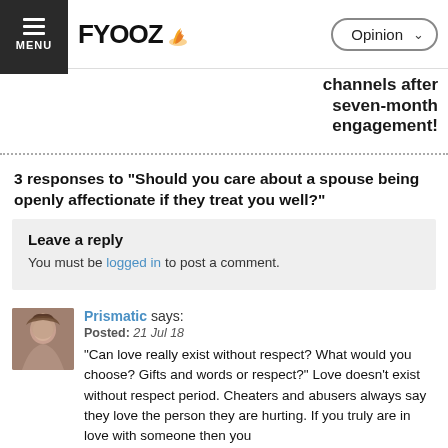FYOOZ — Opinion
...channels after seven-month engagement!
3 responses to "Should you care about a spouse being openly affectionate if they treat you well?"
Leave a reply
You must be logged in to post a comment.
Prismatic says:
Posted: 21 Jul 18
"Can love really exist without respect? What would you choose? Gifts and words or respect?" Love doesn't exist without respect period. Cheaters and abusers always say they love the person they are hurting. If you truly are in love with someone then you